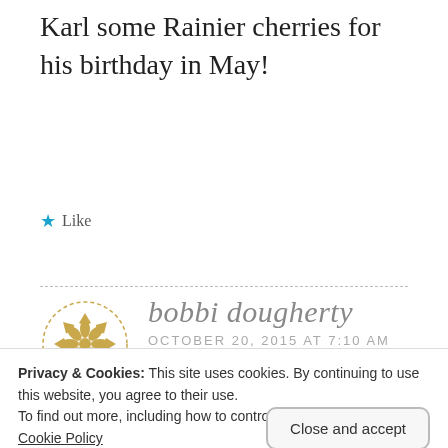Karl some Rainier cherries for his birthday in May!
★ Like
[Figure (illustration): Circular avatar with golden geometric/mandala pattern on white background with dashed circular border]
bobbi dougherty
OCTOBER 20, 2015 AT 7:10 AM
Privacy & Cookies: This site uses cookies. By continuing to use this website, you agree to their use.
To find out more, including how to control cookies, see here:
Cookie Policy
anniversary:::